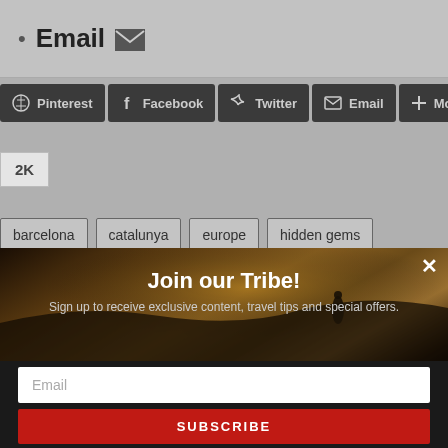Email ✉
[Figure (screenshot): Social share buttons row: Pinterest, Facebook, Twitter, Email, More]
2K
barcelona
catalunya
europe
hidden gems
Join our Tribe!
Sign up to receive exclusive content, travel tips and special offers.
Email
SUBSCRIBE